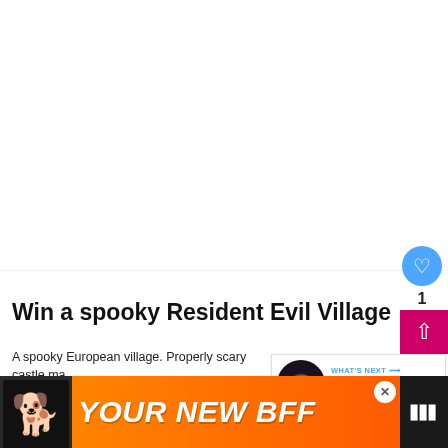[Figure (photo): Large white/blank image area at top of page, likely a game or article hero image (not visible/loaded)]
Win a spooky Resident Evil Village hamp
A spooky European village. Properly scary castle ma... Werewolves! The only thing more frightening, is a gl... empty bank account when it comes to deciding whether or not you can grab Resident Evil Village this month. Capcom's successor to its lo... re... ...middle
[Figure (other): WHAT'S NEXT callout box with thumbnail showing a glowing eye (game promo image) and text: Steam's most popular 202...]
[Figure (advertisement): Orange advertisement banner at bottom showing a dog and text YOUR NEW BFF with close button and app icon]